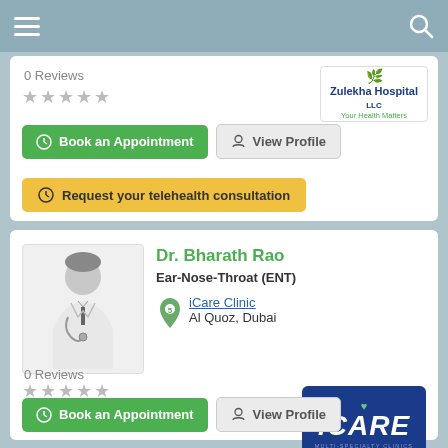Navigation bar with menu and search icons
0 Reviews
[Figure (other): Zulekha Hospital logo - Your Health Matters]
★★★★★ (0 stars)
Book an Appointment
View Profile
Request your telehealth consultation
Dr. Bharath Rao
Ear-Nose-Throat (ENT)
[Figure (illustration): Doctor silhouette placeholder image]
iCare Clinic
Al Quoz, Dubai
[Figure (logo): iCARE MULTI-SPECIALTY CLINICS logo in blue]
0 Reviews
★★★★★ (0 stars)
Book an Appointment
View Profile